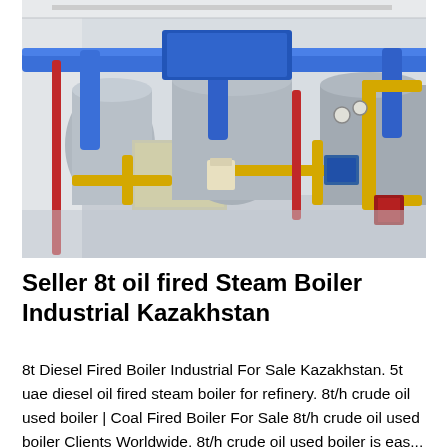[Figure (photo): Industrial boiler room with large cylindrical steam boilers in metallic silver casing, connected by blue overhead pipes and yellow and red piping systems on the floor, inside a white-walled facility.]
Seller 8t oil fired Steam Boiler Industrial Kazakhstan
8t Diesel Fired Boiler Industrial For Sale Kazakhstan. 5t uae diesel oil fired steam boiler for refinery. 8t/h crude oil used boiler | Coal Fired Boiler For Sale 8t/h crude oil used boiler Clients Worldwide. 8t/h crude oil used boiler is eas...